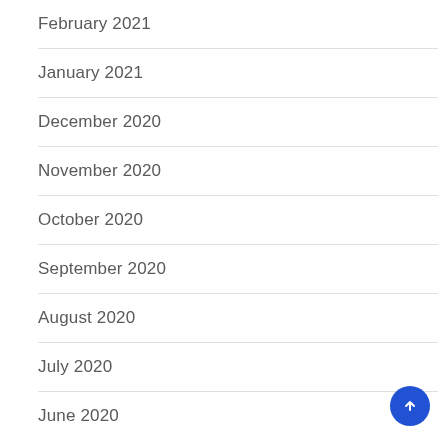February 2021
January 2021
December 2020
November 2020
October 2020
September 2020
August 2020
July 2020
June 2020